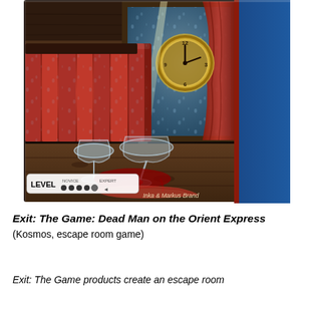[Figure (photo): Product photo of EXIT: The Game - Dead Man on the Orient Express board game box by Kosmos. The box shows a dramatic scene inside a train compartment: red upholstered seats wet with rain droplets, a large clock visible through a rain-streaked window with red curtains, and a fallen wine glass with spilled red liquid on a wooden floor. A 'LEVEL NOVICE ●●●● EXPERT' difficulty indicator is shown at the bottom left, and 'Inka & Markus Brand' is credited at the bottom. A blue KOSMOS branding strip with white text runs vertically on the right side. The right edge shows the spine of the box with EXIT branding.]
Exit: The Game: Dead Man on the Orient Express
(Kosmos, escape room game)
Exit: The Game products create an escape room